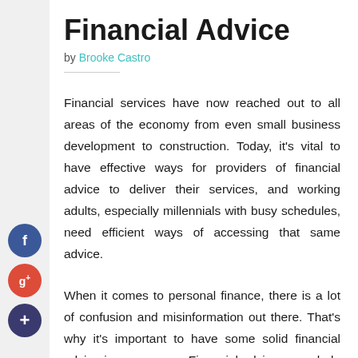Financial Advice
by Brooke Castro
Financial services have now reached out to all areas of the economy from even small business development to construction. Today, it's vital to have effective ways for providers of financial advice to deliver their services, and working adults, especially millennials with busy schedules, need efficient ways of accessing that same advice.
When it comes to personal finance, there is a lot of confusion and misinformation out there. That's why it's important to have some solid financial advice in your corner. Financial advisors can help you create a stable